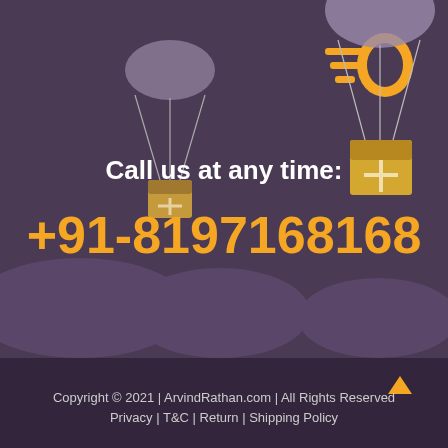[Figure (illustration): Delivery-themed illustration with a flying phone icon, parachute packages on dark purple background with cloud shapes]
Call us at any time:
+91-8197168168
[Figure (illustration): Orange upward arrow scroll-to-top button]
Copyright © 2021 | ArvindRathan.com | All Rights Reserved
Privacy | T&C | Return | Shipping Policy